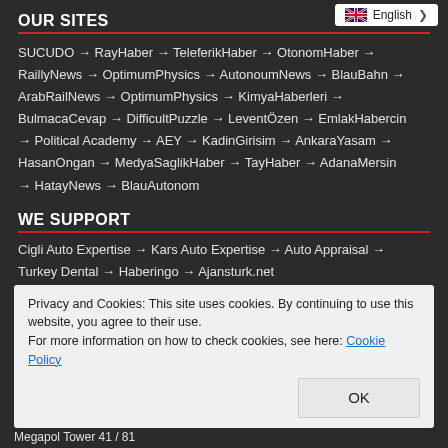OUR SITES
SUCUDO → RayHaber → TeleferikHaber → OtonomHaber → RaillyNews → OptimumPhysics → AutonoumNews → BlauBahn → ArabRailNews → OptimumPhysics → KimyaHaberleri → BulmacaCevap → DifficultPuzzle → LeventÖzen → EmlakHabercin → Political Academy → AEY → KadinGirisim → AnkaraYasam → HasanOngan → MedyaSaglikHaber → TayHaber → AdanaMersin → HatayNews → BlauAutonom
WE SUPPORT
Cigli Auto Expertise → Kars Auto Expertise → Auto Appraisal → Turkey Dental → Haberingo → Ajansturk.net
Privacy and Cookies: This site uses cookies. By continuing to use this website, you agree to their use.
For more information on how to check cookies, see here: Cookie Policy
Megapol Tower 41 / 81